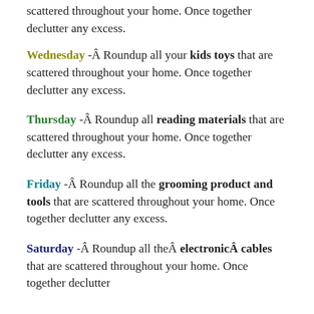scattered throughout your home. Once together declutter any excess.
Wednesday - Roundup all your kids toys that are scattered throughout your home. Once together declutter any excess.
Thursday - Roundup all reading materials that are scattered throughout your home. Once together declutter any excess.
Friday - Roundup all the grooming product and tools that are scattered throughout your home. Once together declutter any excess.
Saturday - Roundup all the electronic cables that are scattered throughout your home. Once together declutter any excess.